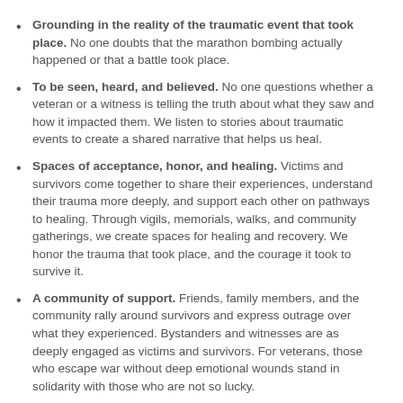Grounding in the reality of the traumatic event that took place. No one doubts that the marathon bombing actually happened or that a battle took place.
To be seen, heard, and believed. No one questions whether a veteran or a witness is telling the truth about what they saw and how it impacted them. We listen to stories about traumatic events to create a shared narrative that helps us heal.
Spaces of acceptance, honor, and healing. Victims and survivors come together to share their experiences, understand their trauma more deeply, and support each other on pathways to healing. Through vigils, memorials, walks, and community gatherings, we create spaces for healing and recovery. We honor the trauma that took place, and the courage it took to survive it.
A community of support. Friends, family members, and the community rally around survivors and express outrage over what they experienced. Bystanders and witnesses are as deeply engaged as victims and survivors. For veterans, those who escape war without deep emotional wounds stand in solidarity with those who are not so lucky.